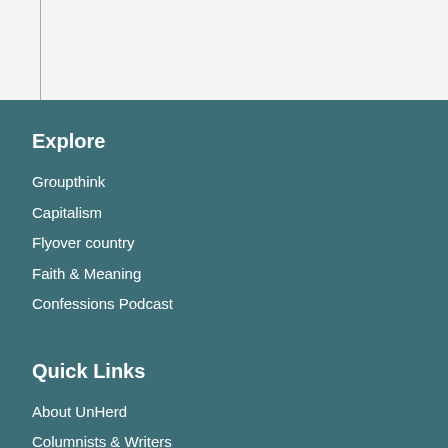Explore
Groupthink
Capitalism
Flyover country
Faith & Meaning
Confessions Podcast
Quick Links
About UnHerd
Columnists & Writers
Terms & Conditions
Privacy Policy
Community Guidelines
Vacancies